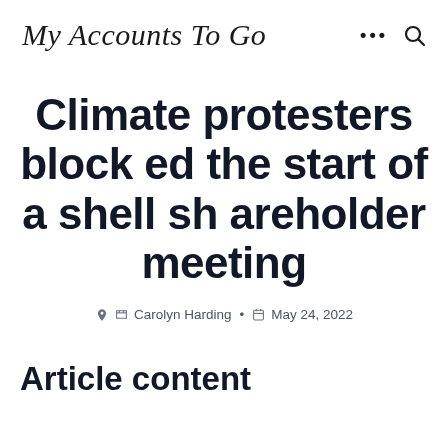My Accounts To Go
Climate protesters blocked the start of a shell shareholder meeting
Carolyn Harding • May 24, 2022
Article content